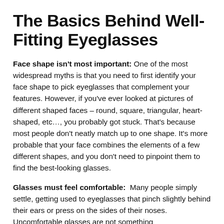The Basics Behind Well-Fitting Eyeglasses
Face shape isn't most important: One of the most widespread myths is that you need to first identify your face shape to pick eyeglasses that complement your features. However, if you've ever looked at pictures of different shaped faces – round, square, triangular, heart-shaped, etc…, you probably got stuck. That's because most people don't neatly match up to one shape. It's more probable that your face combines the elements of a few different shapes, and you don't need to pinpoint them to find the best-looking glasses.
Glasses must feel comfortable:  Many people simply settle, getting used to eyeglasses that pinch slightly behind their ears or press on the sides of their noses. Uncomfortable glasses are not something...